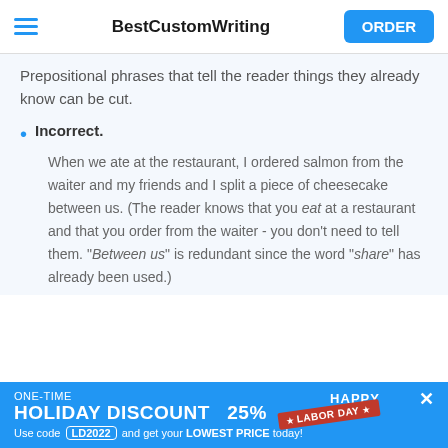BestCustomWriting ORDER
Prepositional phrases that tell the reader things they already know can be cut.
Incorrect.
When we ate at the restaurant, I ordered salmon from the waiter and my friends and I split a piece of cheesecake between us. (The reader knows that you eat at a restaurant and that you order from the waiter - you don't need to tell them. "Between us" is redundant since the word "share" has already been used.)
ONE-TIME HOLIDAY DISCOUNT 25% Use code LD2022 and get your LOWEST PRICE today! HAPPY LABOR DAY